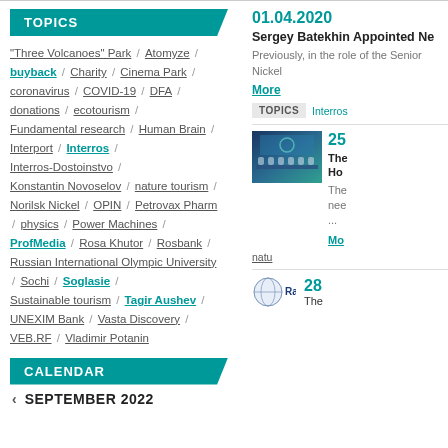TOPICS
"Three Volcanoes" Park / Atomyze / buyback / Charity / Cinema Park / coronavirus / COVID-19 / DFA / donations / ecotourism / Fundamental research / Human Brain / Interport / Interros / Interros-Dostoinstvo / Konstantin Novoselov / nature tourism / Norilsk Nickel / OPIN / Petrovax Pharm / physics / Power Machines / ProfMedia / Rosa Khutor / Rosbank / Russian International Olympic University / Sochi / Soglasie / Sustainable tourism / Tagir Aushev / UNEXIM Bank / Vasta Discovery / VEB.RF / Vladimir Potanin
CALENDAR
SEPTEMBER 2022
01.04.2020
Sergey Batekhin Appointed Ne
Previously, in the role of the Senior Nickel
More
TOPICS  Interros
[Figure (photo): Conference room photo with people seated at a panel table on a blue/teal lit stage]
25
The Ho...
The nee...
Mo...
natu...
[Figure (logo): Rambler logo - circular icon with globe and Rambler text]
28
The